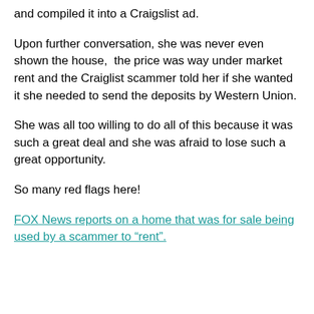and compiled it into a Craigslist ad.
Upon further conversation, she was never even shown the house,  the price was way under market rent and the Craiglist scammer told her if she wanted it she needed to send the deposits by Western Union.
She was all too willing to do all of this because it was such a great deal and she was afraid to lose such a great opportunity.
So many red flags here!
FOX News reports on a home that was for sale being used by a scammer to “rent”.